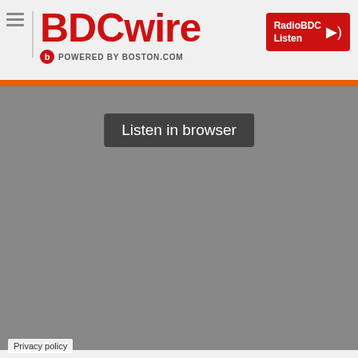BDCwire — POWERED BY BOSTON.COM — RadioBDC Listen
[Figure (screenshot): BDCwire website header with hamburger menu, BDCwire logo in red, 'POWERED BY BOSTON.COM' tagline with Boston.com circle icon, and a red 'RadioBDC Listen' button in the top right]
[Figure (screenshot): Embedded radio player widget with orange progress bar at top, gray background, and a 'Listen in browser' button overlay]
Privacy policy